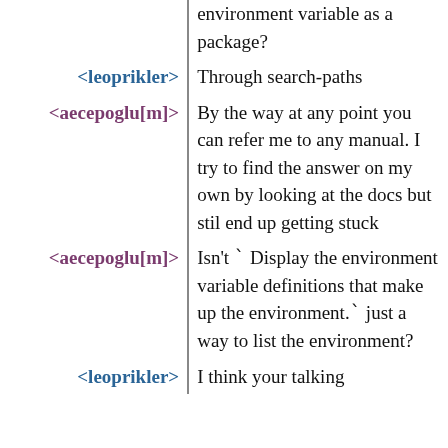environment variable as a package?
<leoprikler> Through search-paths
<aecepoglu[m]> By the way at any point you can refer me to any manual. I try to find the answer on my own by looking at the docs but stil end up getting stuck
<aecepoglu[m]> Isn't ` Display the environment variable definitions that make up the environment.` just a way to list the environment?
<leoprikler> I think your talking